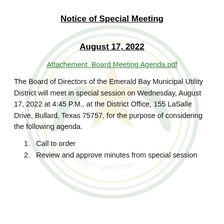Notice of Special Meeting
August 17, 2022
Attachement  Board Meeting Agenda.pdf
The Board of Directors of the Emerald Bay Municipal Utility District will meet in special session on Wednesday, August 17, 2022 at 4:45 P.M., at the District Office, 155 LaSalle Drive, Bullard, Texas 75757, for the purpose of considering the following agenda.
1.  Call to order
2.  Review and approve minutes from special session